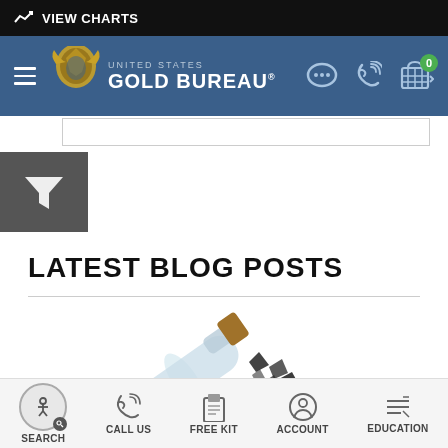VIEW CHARTS
[Figure (logo): United States Gold Bureau logo with navigation bar showing hamburger menu, logo, chat, phone, and cart icons]
LATEST BLOG POSTS
[Figure (photo): A glass bottle tipped on its side with black mineral/diamond-like crystals spilling out from cork]
SEARCH | CALL US | FREE KIT | ACCOUNT | EDUCATION